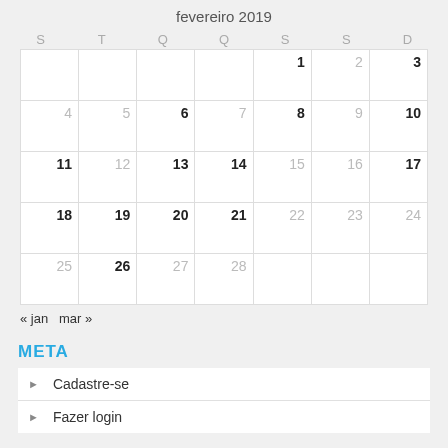fevereiro 2019
| S | T | Q | Q | S | S | D |
| --- | --- | --- | --- | --- | --- | --- |
|  |  |  |  | 1 | 2 | 3 |
| 4 | 5 | 6 | 7 | 8 | 9 | 10 |
| 11 | 12 | 13 | 14 | 15 | 16 | 17 |
| 18 | 19 | 20 | 21 | 22 | 23 | 24 |
| 25 | 26 | 27 | 28 |  |  |  |
« jan   mar »
META
Cadastre-se
Fazer login